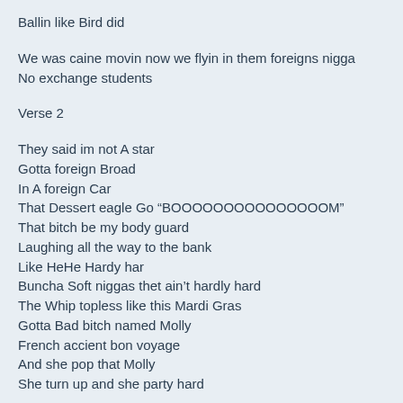Ballin like Bird did
We was caine movin now we flyin in them foreigns nigga
No exchange students
Verse 2
They said im not A star
Gotta foreign Broad
In A foreign Car
That Dessert eagle Go “BOOOOOOOOOOOOOOOM”
That bitch be my body guard
Laughing all the way to the bank
Like HeHe Hardy har
Buncha Soft niggas thet ain’t hardly hard
The Whip topless like this Mardi Gras
Gotta Bad bitch named Molly
French accient bon voyage
And she pop that Molly
She turn up and she party hard